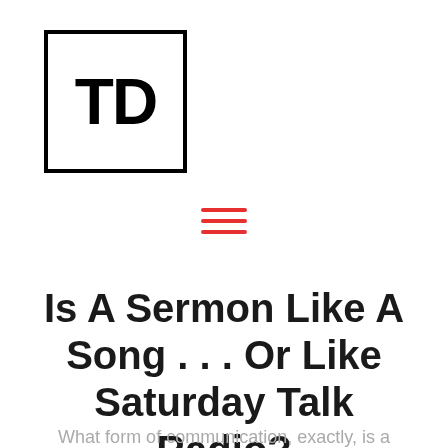[Figure (logo): TD logo — letters T and D in bold black inside a square black border]
[Figure (other): Hamburger menu icon — three horizontal red lines]
Is A Sermon Like A Song . . . Or Like Saturday Talk Radio?
What form of communication, exactly, is a